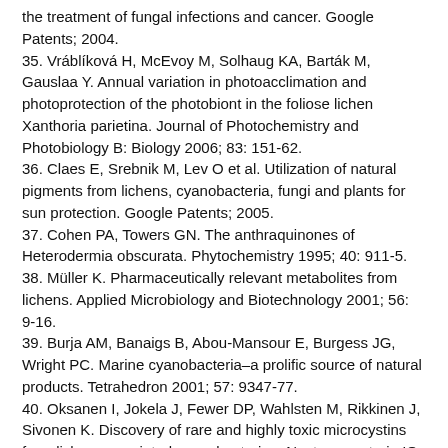the treatment of fungal infections and cancer. Google Patents; 2004.
35. Vráblíková H, McEvoy M, Solhaug KA, Barták M, Gauslaa Y. Annual variation in photoacclimation and photoprotection of the photobiont in the foliose lichen Xanthoria parietina. Journal of Photochemistry and Photobiology B: Biology 2006; 83: 151-62.
36. Claes E, Srebnik M, Lev O et al. Utilization of natural pigments from lichens, cyanobacteria, fungi and plants for sun protection. Google Patents; 2005.
37. Cohen PA, Towers GN. The anthraquinones of Heterodermia obscurata. Phytochemistry 1995; 40: 911-5.
38. Müller K. Pharmaceutically relevant metabolites from lichens. Applied Microbiology and Biotechnology 2001; 56: 9-16.
39. Burja AM, Banaigs B, Abou-Mansour E, Burgess JG, Wright PC. Marine cyanobacteria–a prolific source of natural products. Tetrahedron 2001; 57: 9347-77.
40. Oksanen I, Jokela J, Fewer DP, Wahlsten M, Rikkinen J, Sivonen K. Discovery of rare and highly toxic microcystins from lichen-associated cyanobacterium Nostoc sp. strain IO-102-I. Appl Environ Microbiol 2004; 70: 5756-63.
41. Saini KC, Nayaka S, Bast F. Diversity of Lichen Photobionts: Their Coevolution and Bioprospecting Potential. Microbial Diversity in Ecosystem Sustainability and Biotechnological Applications: